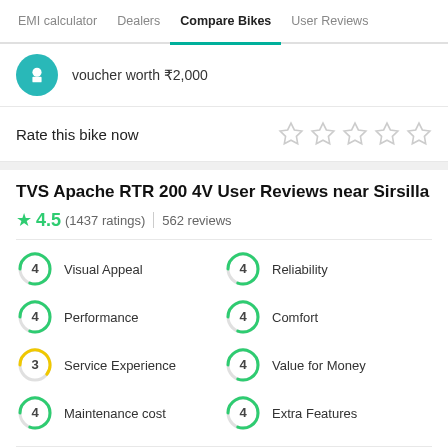EMI calculator | Dealers | Compare Bikes | User Reviews
voucher worth ₹2,000
Rate this bike now ☆☆☆☆☆
TVS Apache RTR 200 4V User Reviews near Sirsilla
★ 4.5 (1437 ratings) | 562 reviews
4 Visual Appeal
4 Reliability
4 Performance
4 Comfort
3 Service Experience
4 Value for Money
4 Maintenance cost
4 Extra Features